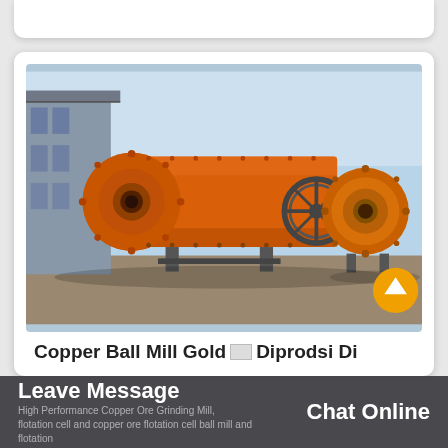[Figure (photo): Two large orange industrial ball mills (copper/gold ore grinding equipment) sitting on a concrete/gravel surface in an industrial yard, with a factory building visible in the background.]
Copper Ball Mill Gold Diprodsi Di
Leave Message   High Performance Copper Ore Grinding Mill, Chat Online   flotation cell and copper ore flotation cell ball mill and flotation